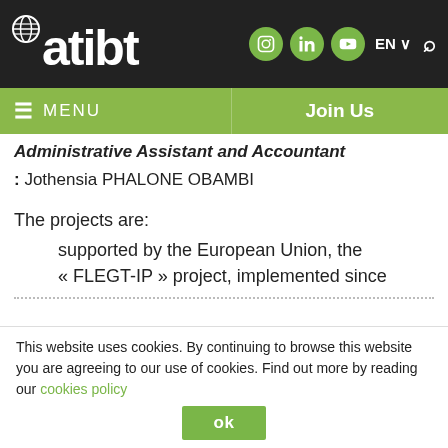atibt
Administrative Assistant and Accountant
: Jothensia PHALONE OBAMBI
The projects are:
supported by the European Union, the « FLEGT-IP » project, implemented since
This website uses cookies. By continuing to browse this website you are agreeing to our use of cookies. Find out more by reading our cookies policy